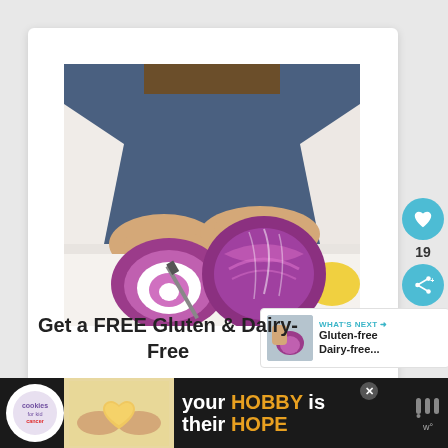[Figure (photo): Person in jeans and white sweater cutting a red/purple cabbage on a white cutting board with a knife; a sliced cross-section of the cabbage is visible, along with what appears to be a lemon in the background.]
19
[Figure (infographic): WHAT'S NEXT banner with thumbnail showing Gluten-free Dairy-free... text]
Get a FREE Gluten & Dairy-Free
[Figure (infographic): Advertisement banner: cookies for kid cancer logo, hands holding a heart-shaped cookie, text: your HOBBY is their HOPE]